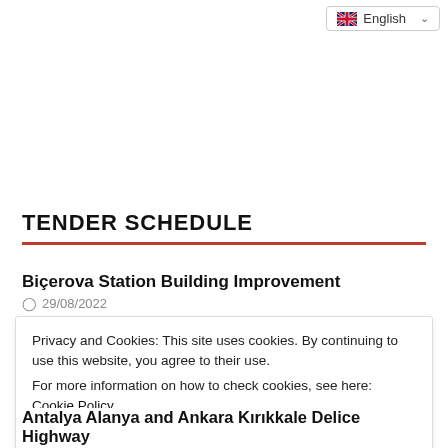English (language selector)
TENDER SCHEDULE
Biçerova Station Building Improvement
29/08/2022
Privacy and Cookies: This site uses cookies. By continuing to use this website, you agree to their use.
For more information on how to check cookies, see here: Cookie Policy
OK
Antalya Alanya and Ankara Kırıkkale Delice Highway